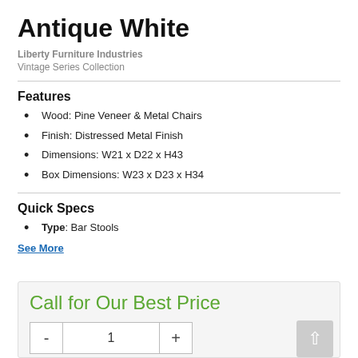Antique White
Liberty Furniture Industries
Vintage Series Collection
Features
Wood: Pine Veneer & Metal Chairs
Finish: Distressed Metal Finish
Dimensions: W21 x D22 x H43
Box Dimensions: W23 x D23 x H34
Quick Specs
Type: Bar Stools
See More
Call for Our Best Price
- 1 +